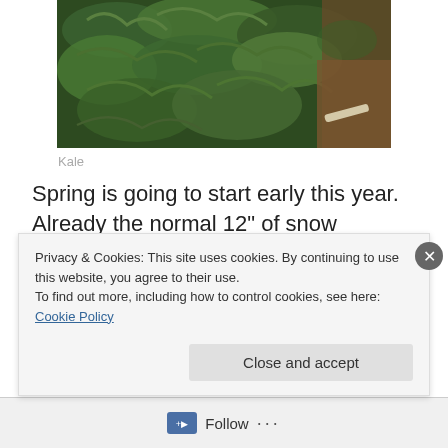[Figure (photo): Close-up photograph of kale plants growing in a garden, showing dark green curly leaves with some brown soil visible on the right side]
Kale
Spring is going to start early this year. Already the normal 12" of snow covering my garden this month is gone, the snowdrops are blooming with many honey bees hovering over them. Since most garden books say as soon as the
Privacy & Cookies: This site uses cookies. By continuing to use this website, you agree to their use.
To find out more, including how to control cookies, see here: Cookie Policy
Close and accept
Follow